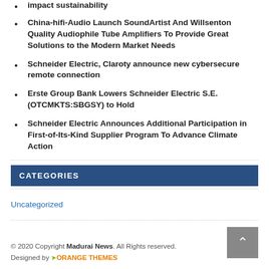impact sustainability
China-hifi-Audio Launch SoundArtist And Willsenton Quality Audiophile Tube Amplifiers To Provide Great Solutions to the Modern Market Needs
Schneider Electric, Claroty announce new cybersecure remote connection
Erste Group Bank Lowers Schneider Electric S.E. (OTCMKTS:SBGSY) to Hold
Schneider Electric Announces Additional Participation in First-of-Its-Kind Supplier Program To Advance Climate Action
CATEGORIES
Uncategorized
© 2020 Copyright Madurai News. All Rights Reserved. Designed by ORANGE THEMES